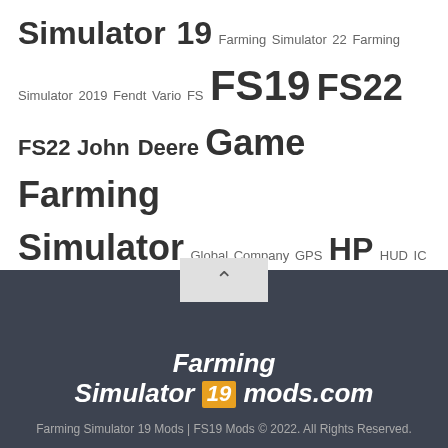Simulator 19 Farming Simulator 22 Farming Simulator 2019 Fendt Vario FS FS19 FS22 FS22 John Deere Game Farming Simulator Global Company GPS HP HUD IC John Deere LED LOG LS LS19 LS22 Manufacturer Lizard Massey Ferguson Maximum Speed Max Speed mods MP Needed Power New Holland PC Precision Farming PS PTO Required Mods seasons ready Working Width XML
[Figure (logo): Farming Simulator 19 mods.com logo in italic bold white text with orange badge for '19']
Farming Simulator 19 Mods | FS19 Mods © 2022. All Rights Reserved.